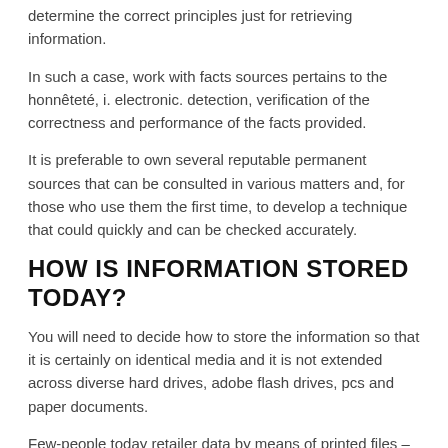determine the correct principles just for retrieving information.
In such a case, work with facts sources pertains to the honnêteté, i. electronic. detection, verification of the correctness and performance of the facts provided.
It is preferable to own several reputable permanent sources that can be consulted in various matters and, for those who use them the first time, to develop a technique that could quickly and can be checked accurately.
HOW IS INFORMATION STORED TODAY?
You will need to decide how to store the information so that it is certainly on identical media and it is not extended across diverse hard drives, adobe flash drives, pcs and paper documents.
Few-people today retailer data by means of printed files – electronic digital versions take up let alone space, are easier to search for, can be edited and quickly duplicated, mailed make on media. Cloud services for storing personal data are incredibly